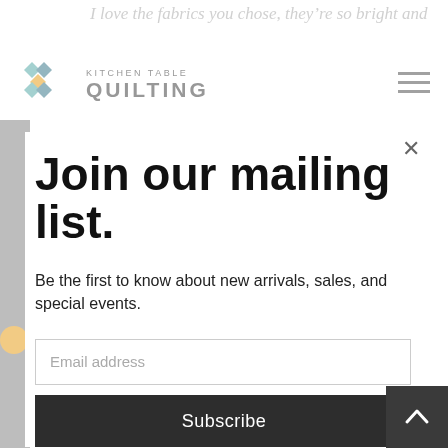I love the fabrics you chose, they're so bright and
[Figure (logo): Kitchen Table Quilting logo with diamond/square quilt pattern icon in teal, blue, and gold, with text KITCHEN TABLE QUILTING]
Join our mailing list.
Be the first to know about new arrivals, sales, and special events.
Email address
Subscribe
The bright fabrics you picked for your pillow awesome!